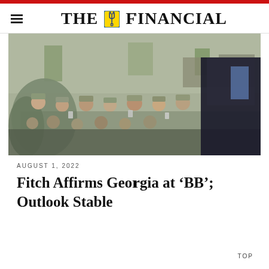THE FINANCIAL
[Figure (photo): Military personnel in camouflage uniforms gathered in a crowd, with a figure in a dark suit visible on the right side, taken at an outdoor event.]
AUGUST 1, 2022
Fitch Affirms Georgia at ‘BB’; Outlook Stable
TOP